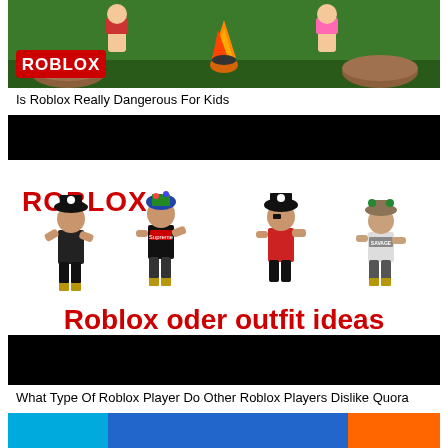[Figure (illustration): Roblox camping scene with cartoon characters around a campfire, Roblox logo in red on green background]
Is Roblox Really Dangerous For Kids
[Figure (illustration): Roblox promotional image showing four pirate-themed avatar characters with Roblox logo and text 'Roblox oder outfit ideas' in red on black background]
What Type Of Roblox Player Do Other Roblox Players Dislike Quora
[Figure (screenshot): Partial bottom image, cropped]